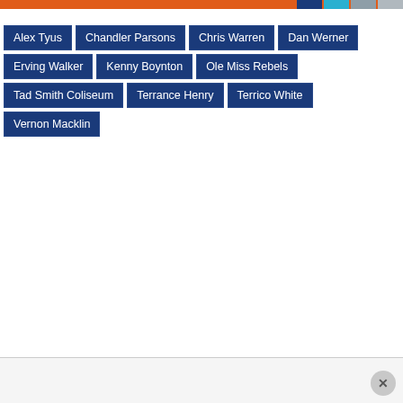Alex Tyus
Chandler Parsons
Chris Warren
Dan Werner
Erving Walker
Kenny Boynton
Ole Miss Rebels
Tad Smith Coliseum
Terrance Henry
Terrico White
Vernon Macklin